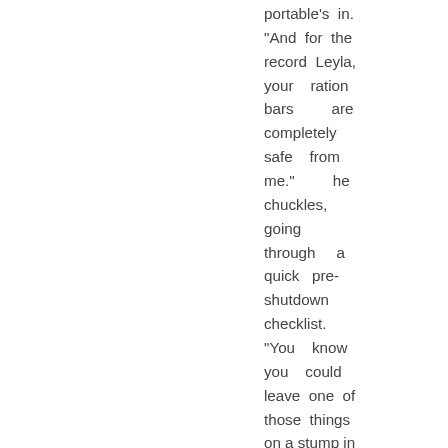portable's in. "And for the record Leyla, your ration bars are completely safe from me." he chuckles, going through a quick pre-shutdown checklist. "You know you could leave one of those things on a stump in the middle of the forest and come back a month later and it'd still be